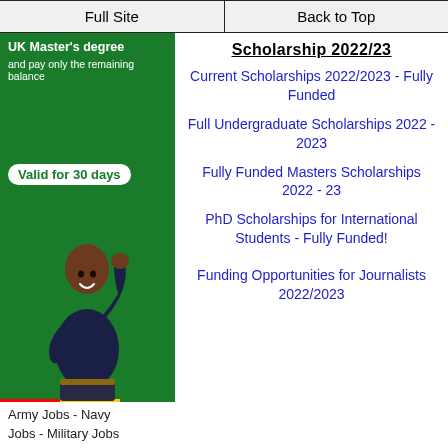Full Site | Back to Top
[Figure (photo): Advertisement banner with green background showing text 'UK Master's degree and pay only the remaining balance', 'Valid for 30 days' badge, and a man celebrating with raised fist]
Scholarship 2022/23
Current Scholarships 2022/2023 - Fully Funded
Full Undergraduate Scholarships 2022 - 2023
Fully Funded Masters Scholarships 2022 - 23
PhD Scholarships for International Students - Fully Funded!
Funding Opportunities for Journalists 2022/2023
Army Jobs - Navy Jobs - Military Jobs